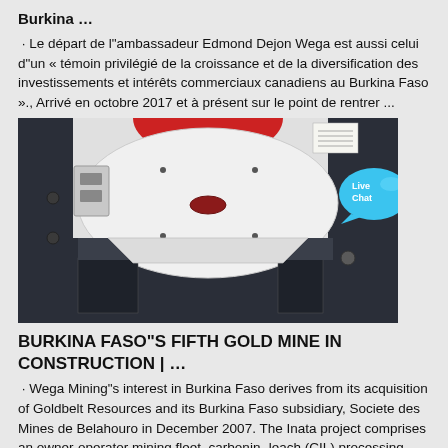Burkina …
· Le départ de l"ambassadeur Edmond Dejon Wega est aussi celui d"un « témoin privilégié de la croissance et de la diversification des investissements et intérêts commerciaux canadiens au Burkina Faso »., Arrivé en octobre 2017 et à présent sur le point de rentrer ...
[Figure (photo): Close-up photograph of industrial mining equipment — a large metal disc/rotor component (white/silver circular plate) mounted in a dark blue/grey machine frame, with red element visible at top and a small red indicator light in the center of the white disc. A label panel is visible at top right. A Live Chat button (blue speech bubble with fish icon) overlays the top right corner.]
BURKINA FASO"S FIFTH GOLD MINE IN CONSTRUCTION | …
· Wega Mining"s interest in Burkina Faso derives from its acquisition of Goldbelt Resources and its Burkina Faso subsidiary, Societe des Mines de Belahouro in December 2007. The Inata project comprises an owner-operator mining fleet, carbonin- leach (CIL) processing facility, power station,